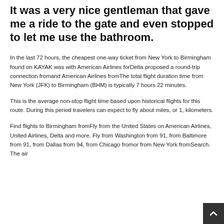It was a very nice gentleman that gave me a ride to the gate and even stopped to let me use the bathroom.
In the last 72 hours, the cheapest one-way ticket from New York to Birmingham found on KAYAK was with American Airlines forDelta proposed a round-trip connection fromand American Airlines fromThe total flight duration time from New York (JFK) to Birmingham (BHM) is typically 7 hours 22 minutes.
This is the average non-stop flight time based upon historical flights for this route. During this period travelers can expect to fly about miles, or 1, kilometers.
Find flights to Birmingham fromFly from the United States on American Airlines, United Airlines, Delta and more. Fly from Washington from 91, from Baltimore from 91, from Dallas from 94, from Chicago fromor from New York fromSearch. The air at BHM connect travelers to destinations across the country